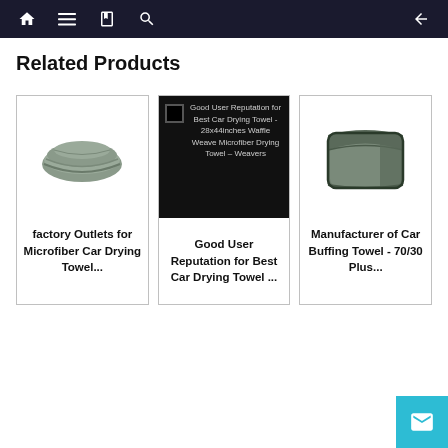Navigation bar with home, menu, book, search icons and back arrow
Related Products
[Figure (photo): Product card 1: Microfiber car drying towel folded gray, with title 'factory Outlets for Microfiber Car Drying Towel...']
[Figure (photo): Product card 2: Black background with overlay text 'Good User Reputation for Best Car Drying Towel - 28x44inches Waffle Weave Microfiber Drying Towel – Weavers']
[Figure (photo): Product card 3: Gray car buffing towel folded, with title 'Manufacturer of Car Buffing Towel - 70/30 Plus...']